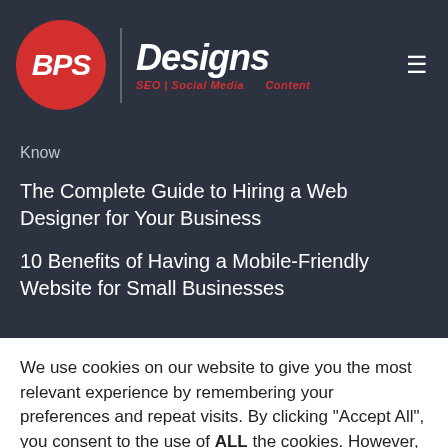[Figure (logo): BPS Designs logo with red circle containing BPS text, vertical divider, Designs text in white italic, and SEO | Social Media | Content tagline in red italic]
Know
The Complete Guide to Hiring a Web Designer for Your Business
10 Benefits of Having a Mobile-Friendly Website for Small Businesses
We use cookies on our website to give you the most relevant experience by remembering your preferences and repeat visits. By clicking "Accept All", you consent to the use of ALL the cookies. However, you may visit "Cookie Settings" to provide a controlled consent.
Cookie Settings
Accept All